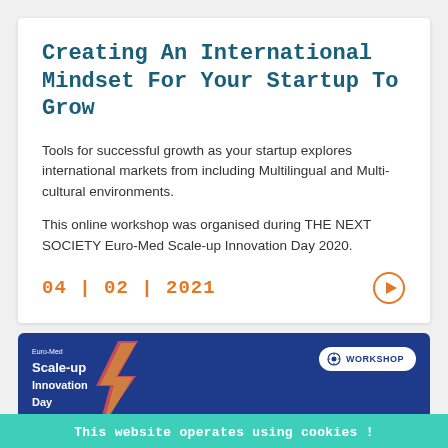Creating An International Mindset For Your Startup To Grow
Tools for successful growth as your startup explores international markets from including Multilingual and Multi-cultural environments.
This online workshop was organised during THE NEXT SOCIETY Euro-Med Scale-up Innovation Day 2020.
04 | 02 | 2021
[Figure (screenshot): Blue banner with Euro-Med Scale-up Innovation Day logo, lightning bolt graphic, WORKSHOP badge, partial text '10 simple steps to survive', and a circular avatar photo in the bottom right corner.]
This website operates using cookies !